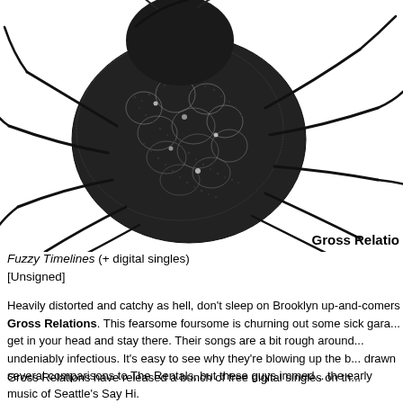[Figure (illustration): Black and white detailed illustration of an insect (beetle/bug) with long legs, shown from above, cropped at the top and right edges of the page.]
Gross Relatio
Fuzzy Timelines (+ digital singles)
[Unsigned]
Heavily distorted and catchy as hell, don't sleep on Brooklyn up-and-comers Gross Relations. This fearsome foursome is churning out some sick gara... get in your head and stay there. Their songs are a bit rough around... undeniably infectious. It's easy to see why they're blowing up the b... drawn several comparisons to The Rentals, but these guys immed... the early music of Seattle's Say Hi.
Gross Relations have released a bunch of free digital singles on th...